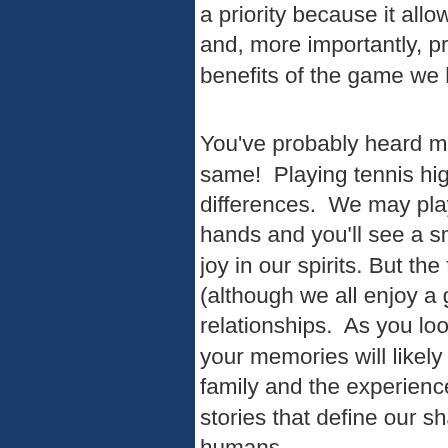a priority because it allows u and, more importantly, provid benefits of the game we love
You've probably heard me sa same!  Playing tennis highlig differences.  We may play at hands and you'll see a smile joy in our spirits. But the trut (although we all enjoy a goo relationships.  As you look b your memories will likely focu family and the experiences y stories that define our share humans.
During the Kentucky Tennis W Eden and Matt Emery, as we highlighted the moments tha